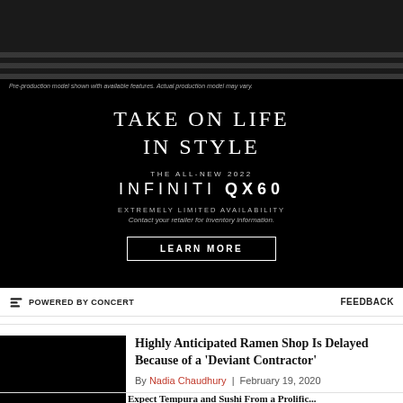[Figure (photo): Black and white advertisement for the 2022 Infiniti QX60. Shows a car photo at top on striped surface. Black background with text: TAKE ON LIFE IN STYLE, THE ALL-NEW 2022 INFINITI QX60, EXTREMELY LIMITED AVAILABILITY, Contact your retailer for inventory information. LEARN MORE button.]
Pre-production model shown with available features. Actual production model may vary.
POWERED BY CONCERT   FEEDBACK
Highly Anticipated Ramen Shop Is Delayed Because of a ‘Deviant Contractor’
By Nadia Chaudhury | February 19, 2020
Expect Tempura and Sushi From a Prolific...